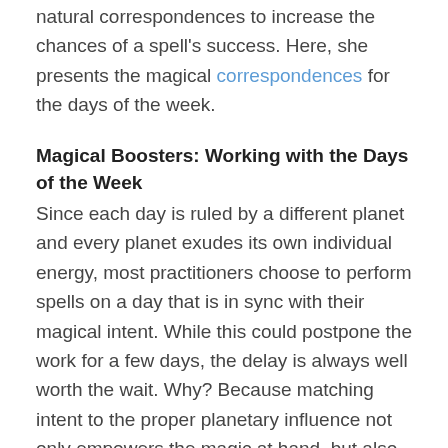natural correspondences to increase the chances of a spell's success. Here, she presents the magical correspondences for the days of the week.
Magical Boosters: Working with the Days of the Week
Since each day is ruled by a different planet and every planet exudes its own individual energy, most practitioners choose to perform spells on a day that is in sync with their magical intent. While this could postpone the work for a few days, the delay is always well worth the wait. Why? Because matching intent to the proper planetary influence not only empowers the magic at hand, but also, to a large degree, eliminates the possibility of cosmic error.
While that's certainly reason enough to cross-match